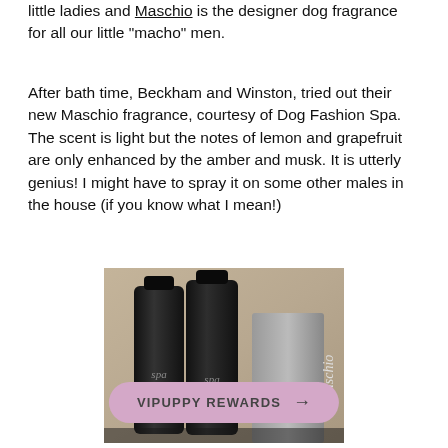little ladies and Maschio is the designer dog fragrance for all our little "macho" men.
After bath time, Beckham and Winston, tried out their new Maschio fragrance, courtesy of Dog Fashion Spa. The scent is light but the notes of lemon and grapefruit are only enhanced by the amber and musk. It is utterly genius! I might have to spray it on some other males in the house (if you know what I mean!)
[Figure (photo): Photo of two dark/black dog grooming product bottles and a silver/grey Maschio branded box on a granite countertop background.]
VIPUPPY REWARDS →